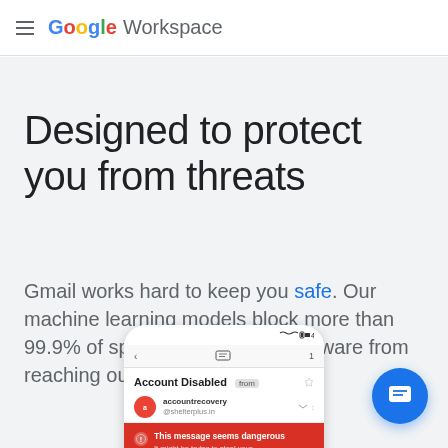Google Workspace
Designed to protect you from threats
Gmail works hard to keep you safe. Our machine learning models block more than 99.9% of spam, phishing and malware from reaching our users.
[Figure (screenshot): Smartphone screen showing a Gmail phishing warning. An email with subject 'Account Disabled' is displayed with a red warning banner reading 'This message seems dangerous'.]